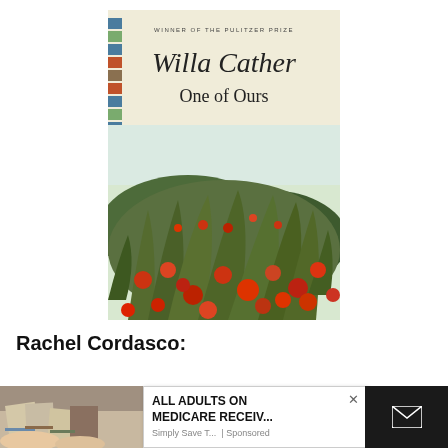[Figure (illustration): Book cover of 'One of Ours' by Willa Cather. Cream/beige background with colorful chevron stripes on the left spine. Text at top reads 'WINNER OF THE PULITZER PRIZE'. Author name 'Willa Cather' in italic serif font. Title 'One of Ours' below. Lower half shows a painted illustration of green grass and red poppies in a field.]
Rachel Cordasco:
[Figure (photo): Partial photo of a person's hands holding papers/postcards, lower-left corner of page.]
ALL ADULTS ON MEDICARE RECEIV...
Simply Save T... | Sponsored
WWI novel is a